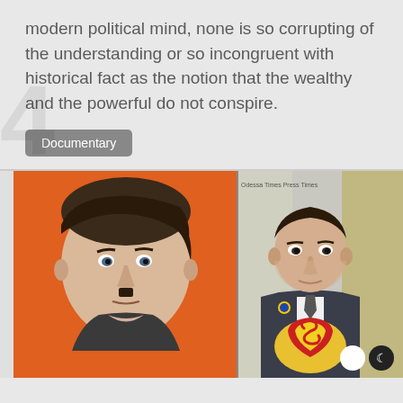modern political mind, none is so corrupting of the understanding or so incongruent with historical fact as the notion that the wealthy and the powerful do not conspire.
Documentary
[Figure (illustration): Two-panel illustration: left panel shows a caricature of Vladimir Putin styled to resemble Adolf Hitler with a small mustache and swept hair against an orange background; right panel shows a caricature of Volodymyr Zelensky dressed as Superman opening his suit jacket to reveal the Superman logo, with a Ukrainian flag pin on his lapel. Small watermark text reads 'Odessa Times Press Times'.]